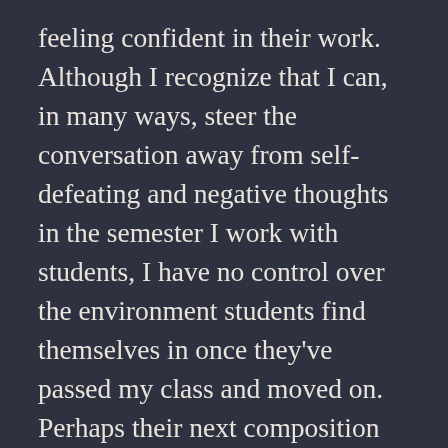feeling confident in their work. Although I recognize that I can, in many ways, steer the conversation away from self-defeating and negative thoughts in the semester I work with students, I have no control over the environment students find themselves in once they've passed my class and moved on. Perhaps their next composition instructor will be less concerned with the affective elements of becoming a writer. Perhaps that instructor will use letter grades. Perhaps the student will struggle, will receive low grades, and will lose that